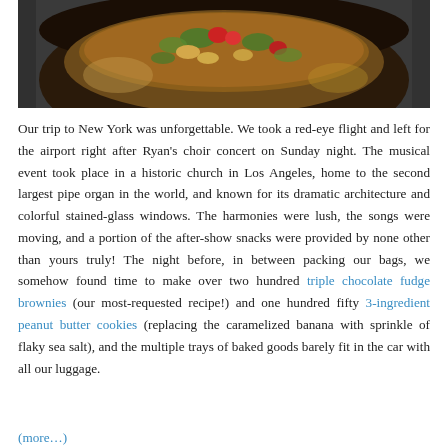[Figure (photo): A dark ceramic bowl filled with a colorful stew or soup with vegetables including tomatoes, greens, and other toppings, photographed from above on a dark surface.]
Our trip to New York was unforgettable. We took a red-eye flight and left for the airport right after Ryan's choir concert on Sunday night. The musical event took place in a historic church in Los Angeles, home to the second largest pipe organ in the world, and known for its dramatic architecture and colorful stained-glass windows. The harmonies were lush, the songs were moving, and a portion of the after-show snacks were provided by none other than yours truly! The night before, in between packing our bags, we somehow found time to make over two hundred triple chocolate fudge brownies (our most-requested recipe!) and one hundred fifty 3-ingredient peanut butter cookies (replacing the caramelized banana with sprinkle of flaky sea salt), and the multiple trays of baked goods barely fit in the car with all our luggage.
(more…)